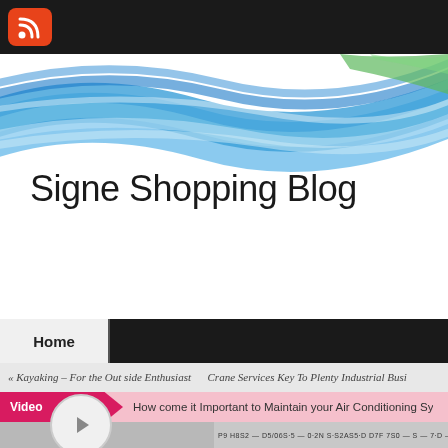[Figure (screenshot): RSS feed icon - orange rounded square with white RSS symbol]
[Figure (illustration): Website header banner with colorful blue, white and green flowing wave/ribbon design on white background]
Signe Shopping Blog
Home
« Kayaking – For the Out side Enthusiast    Crane Services Key To Plenty Industrial Busi
Video    How come it Important to Maintain your Air Conditioning Sy
[Figure (screenshot): Video player thumbnail with play button circle icon on grey background]